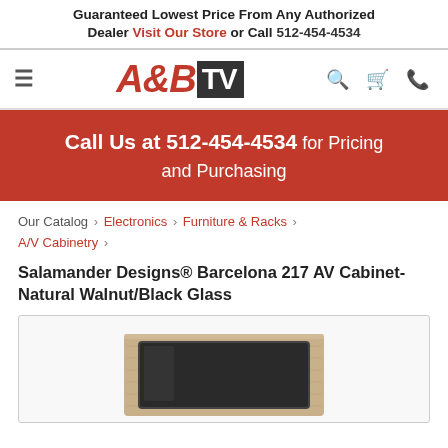Guaranteed Lowest Price From Any Authorized Dealer Visit Our Store or Call 512-454-4534
[Figure (logo): A&B TV logo with hamburger menu, search, cart, and phone icons]
Call Us at 512-454-4534 for Pricing and Purchasing
Our Catalog › Electronics › Furniture & Racks › A/V Cabinetry ›
Salamander Designs® Barcelona 217 AV Cabinet-Natural Walnut/Black Glass
[Figure (photo): Photo of Salamander Designs Barcelona 217 AV Cabinet in Natural Walnut with Black Glass door]